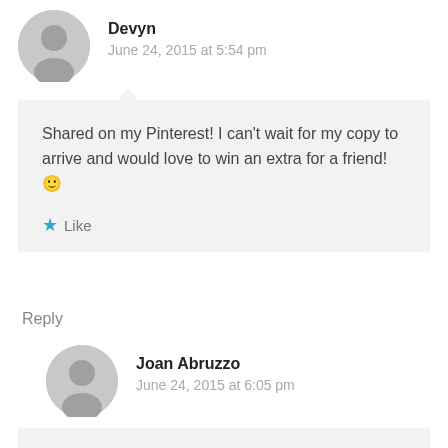Devyn
June 24, 2015 at 5:54 pm
Shared on my Pinterest! I can't wait for my copy to arrive and would love to win an extra for a friend! 🙂
Like
Reply
Joan Abruzzo
June 24, 2015 at 6:05 pm
I placed it on Pinterest and on facebook. I would to get a